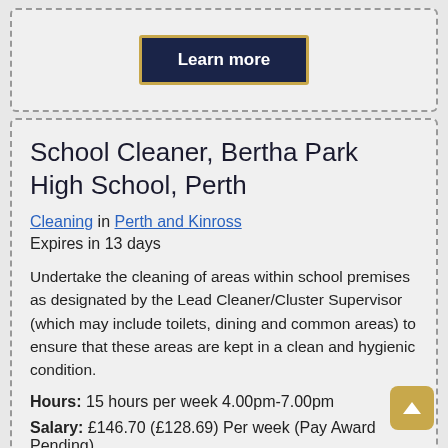[Figure (other): Learn more button with dark navy background and gold border]
School Cleaner, Bertha Park High School, Perth
Cleaning in Perth and Kinross
Expires in 13 days
Undertake the cleaning of areas within school premises as designated by the Lead Cleaner/Cluster Supervisor (which may include toilets, dining and common areas) to ensure that these areas are kept in a clean and hygienic condition.
Hours: 15 hours per week 4.00pm-7.00pm
Salary: £146.70 (£128.69) Per week (Pay Award Pending)
REF: 17129